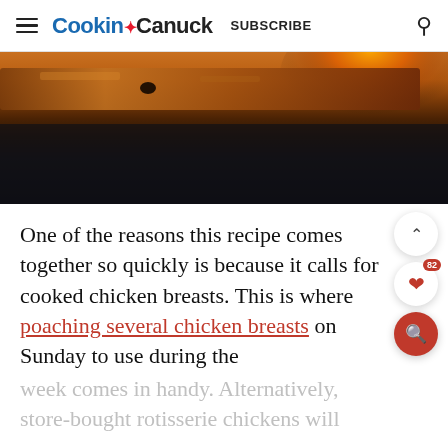Cookin' Canuck  SUBSCRIBE
[Figure (photo): Close-up photo of a rusty, dark baking pan or cooking surface with an orange glow in the upper right, showing a textured metallic surface with rust and a dark background.]
One of the reasons this recipe comes together so quickly is because it calls for cooked chicken breasts. This is where poaching several chicken breasts on Sunday to use during the week comes in handy. Alternatively, store-bought rotisserie chickens will